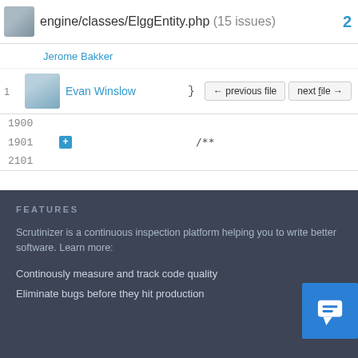engine/classes/ElggEntity.php (15 issues) 2
Jerome Bakker
Evan Winslow
| line |  | code |
| --- | --- | --- |
| 1 |  | } |
| 1900 |  |  |
| 1901 | + | /** |
| 2101 |  |  |
FEATURES
Scrutinizer is a continuous inspection platform helping you to write better software. Learn more:
Continously measure and track code quality
Eliminate bugs before they hit production